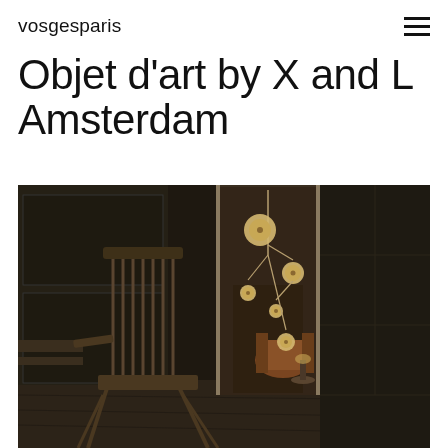vosgesparis
Objet d'art by X and L Amsterdam
[Figure (photo): Dark moody interior room with wooden paneled walls and grid-paned windows/doors. In the foreground, a vintage slatted wooden chair on a dark wood floor. Through an open doorway, a hanging mobile sculpture with circular golden/cream discs is visible, along with an orange/cognac colored armchair and a small table with a lamp in the background.]